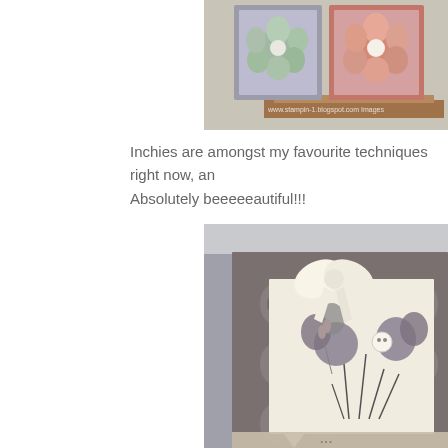[Figure (photo): Cropped photo of handmade greeting cards displayed on a wooden easel, featuring stamped flower designs in pink and green on framed panels with a watermark reading www.stampin-1.blogspot.com]
Inchies are amongst my favourite techniques right now, an Absolutely beeeeeautiful!!!
[Figure (photo): Close-up photo of a handmade greeting card featuring stamped floral designs in gray/mauve on a cream background, with a decorative dark patterned paper layer and a cream satin ribbon bow with a small button accent]